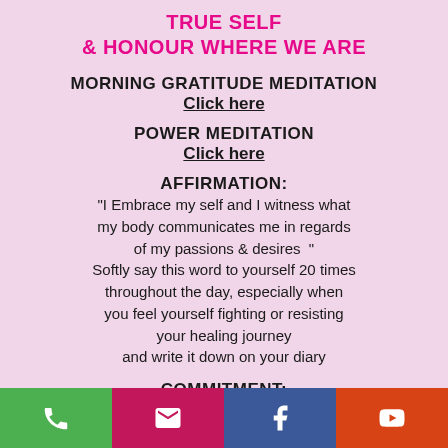TRUE SELF & HONOUR WHERE WE ARE
MORNING GRATITUDE MEDITATION
Click here
POWER MEDITATION
Click here
AFFIRMATION:
"I Embrace my self and I witness what my body communicates me in regards of my passions & desires  " Softly say this word to yourself 20 times throughout the day, especially when you feel yourself fighting or resisting your healing journey and write it down on your diary
COMMITMENT:
Set your alarm on your phone for lunch
[Figure (infographic): Footer bar with four colored icons: phone (green), email/envelope (pink/red), Facebook (blue), YouTube play button (red/orange)]